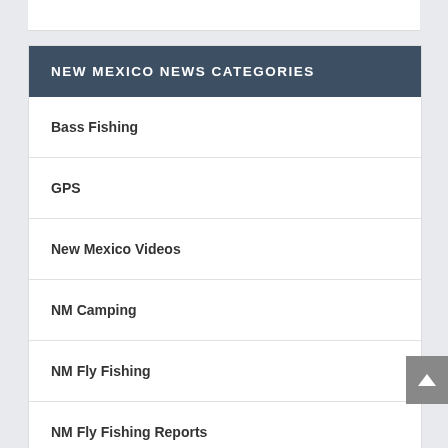NEW MEXICO NEWS CATEGORIES
Bass Fishing
GPS
New Mexico Videos
NM Camping
NM Fly Fishing
NM Fly Fishing Reports
NM Golf